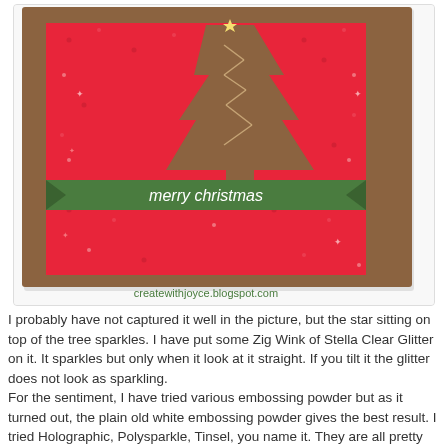[Figure (photo): A handmade Christmas card with a brown kraft card base, red textured paper with embossed star/dot pattern, a die-cut Christmas tree shape in brown/kraft with twine or ribbon lacing and a star on top, and a green banner across the middle reading 'merry christmas' in white embossed text. The website createwithjoyce.blogspot.com is printed at the bottom of the card.]
I probably have not captured it well in the picture, but the star sitting on top of the tree sparkles.  I have put some Zig Wink of Stella Clear Glitter on it.  It sparkles but only when it look at it straight.  If you tilt it the glitter does not look as sparkling.
For the sentiment, I have tried various embossing powder but as it turned out, the plain old white embossing powder gives the best result.  I tried Holographic, Polysparkle, Tinsel, you name it.  They are all pretty but I was afraid that they do not pop enough on the green banner.  Had I used a black